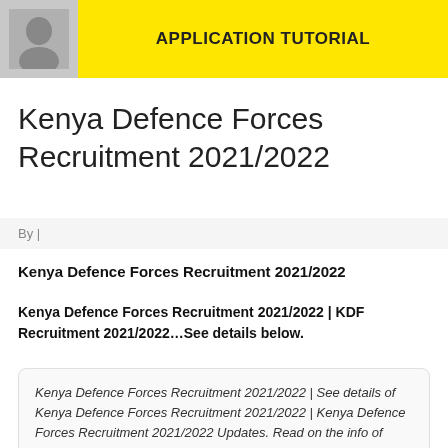[Figure (illustration): Banner with a person's face silhouette on the left and yellow background with text 'APPLICATION TUTORIAL' on the right]
Kenya Defence Forces Recruitment 2021/2022
By |
Kenya Defence Forces Recruitment 2021/2022
Kenya Defence Forces Recruitment 2021/2022 | KDF Recruitment 2021/2022…See details below.
Kenya Defence Forces Recruitment 2021/2022 | See details of Kenya Defence Forces Recruitment 2021/2022 | Kenya Defence Forces Recruitment 2021/2022 Updates. Read on the info of Kenya